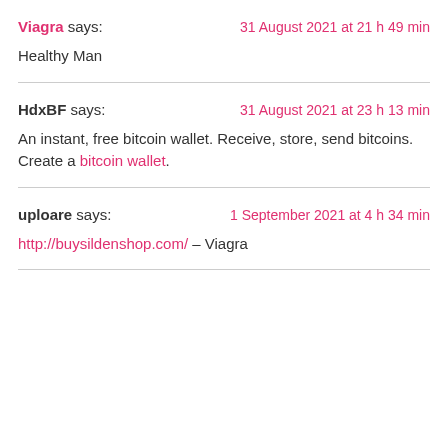Viagra says: — 31 August 2021 at 21 h 49 min
Healthy Man
HdxBF says: — 31 August 2021 at 23 h 13 min
An instant, free bitcoin wallet. Receive, store, send bitcoins. Create a bitcoin wallet.
uploare says: — 1 September 2021 at 4 h 34 min
http://buysildenshop.com/ – Viagra